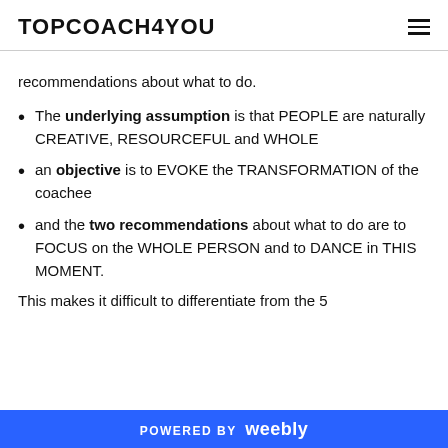TOPCOACH4YOU
recommendations about what to do.
The underlying assumption is that PEOPLE are naturally CREATIVE, RESOURCEFUL and WHOLE
an objective is to EVOKE the TRANSFORMATION of the coachee
and the two recommendations about what to do are to FOCUS on the WHOLE PERSON and to DANCE in THIS MOMENT.
This makes it difficult to differentiate from the 5
POWERED BY weebly